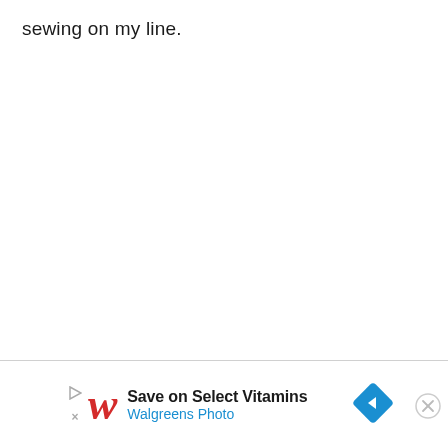sewing on my line.
[Figure (logo): Walgreens Photo advertisement banner with play/close controls, Walgreens cursive W logo in red, text 'Save on Select Vitamins / Walgreens Photo', blue diamond arrow navigation button, and circular X close button]